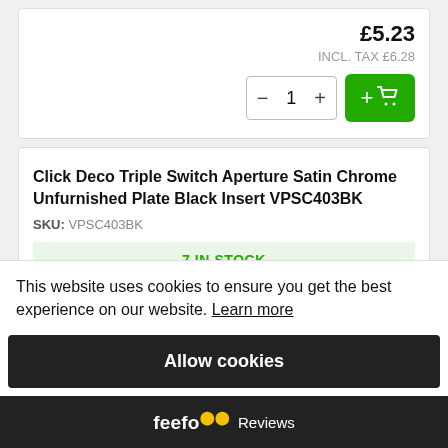£5.23
INCL. TAX £6.28
− 1 +
+ 🛒
Click Deco Triple Switch Aperture Satin Chrome Unfurnished Plate Black Insert VPSC403BK
SKU: VPSC403BK
7 IN STOCK
This website uses cookies to ensure you get the best experience on our website. Learn more
Allow cookies
feefo Reviews